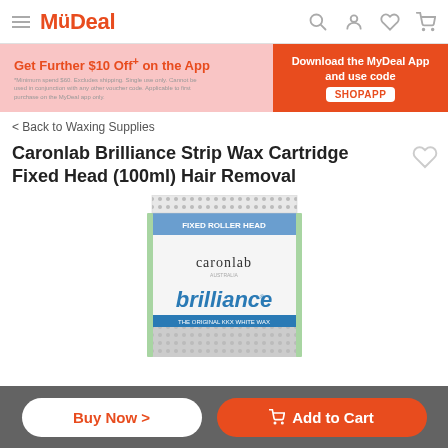MyDeal
[Figure (screenshot): Promotional banner: Get Further $10 Off+ on the App. Download the MyDeal App and use code SHOPAPP.]
< Back to Waxing Supplies
Caronlab Brilliance Strip Wax Cartridge Fixed Head (100ml) Hair Removal
[Figure (photo): Caronlab Brilliance Strip Wax Cartridge product box with Fixed Roller Head label, showing caronlab branding and brilliance THE ORIGINAL KKX WHITE WAX text.]
Buy Now >
Add to Cart